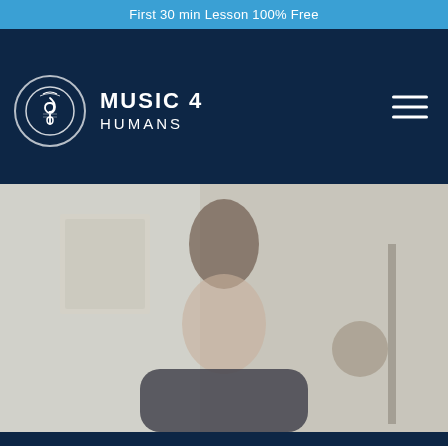First 30 min Lesson 100% Free
[Figure (logo): Music 4 Humans logo — circular emblem with treble clef and decorative elements, white on dark navy background, beside text 'MUSIC 4 HUMANS']
[Figure (photo): Blurred photograph of a person (music teacher) seated in a room with light-colored walls and decorative items in the background]